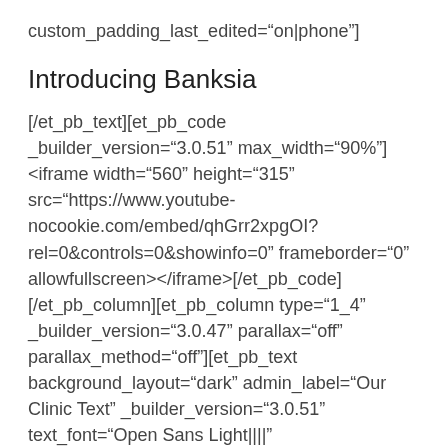custom_padding_last_edited="on|phone"]
Introducing Banksia
[/et_pb_text][et_pb_code _builder_version="3.0.51" max_width="90%"]<iframe width="560" height="315" src="https://www.youtube-nocookie.com/embed/qhGrr2xpgOI?rel=0&controls=0&showinfo=0" frameborder="0" allowfullscreen></iframe>[/et_pb_code][/et_pb_column][et_pb_column type="1_4" _builder_version="3.0.47" parallax="off" parallax_method="off"][et_pb_text background_layout="dark" admin_label="Our Clinic Text" _builder_version="3.0.51" text_font="Open Sans Light||||" text_font_size="12" header_font="Open Sans||||" header_font_size="24px"